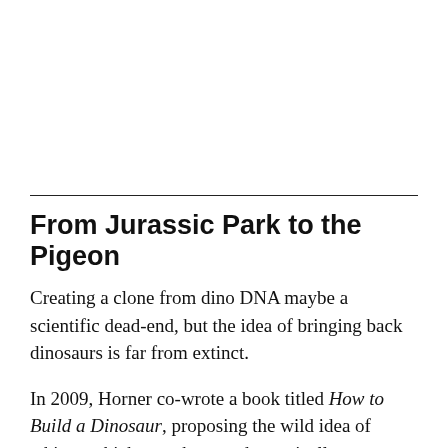From Jurassic Park to the Pigeon
Creating a clone from dino DNA maybe a scientific dead-end, but the idea of bringing back dinosaurs is far from extinct.
In 2009, Horner co-wrote a book titled How to Build a Dinosaur, proposing the wild idea of taking a chicken embryo and genetically modifying it so